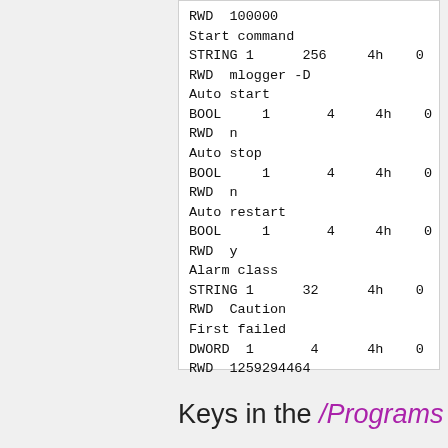RWD  100000
Start command
STRING 1      256     4h    0
RWD  mlogger -D
Auto start
BOOL     1       4     4h    0
RWD  n
Auto stop
BOOL     1       4     4h    0
RWD  n
Auto restart
BOOL     1       4     4h    0
RWD  y
Alarm class
STRING 1      32      4h    0
RWD  Caution
First failed
DWORD  1       4      4h    0
RWD  1259294464
Keys in the /Programs